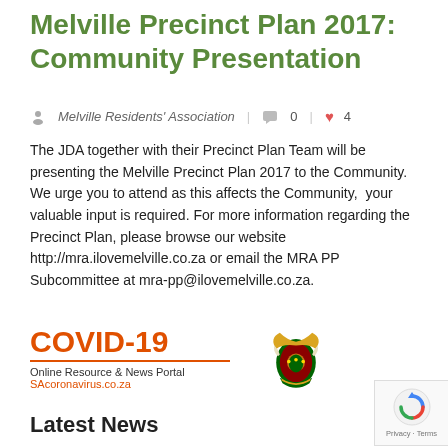Melville Precinct Plan 2017: Community Presentation
Melville Residents' Association  |  0  |  4
The JDA together with their Precinct Plan Team will be presenting the Melville Precinct Plan 2017 to the Community.  We urge you to attend as this affects the Community,  your valuable input is required. For more information regarding the Precinct Plan, please browse our website http://mra.ilovemelville.co.za or email the MRA PP Subcommittee at mra-pp@ilovemelville.co.za.
[Figure (logo): COVID-19 Online Resource & News Portal SAcoronavirus.co.za banner with South African government crest]
Latest News